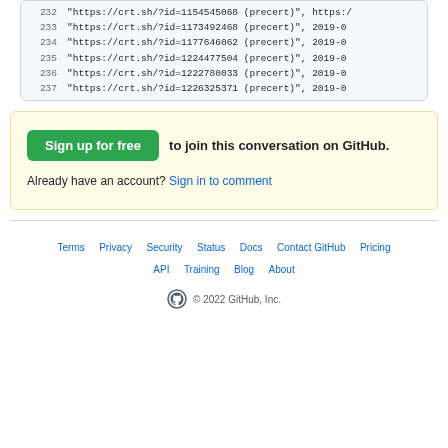232  "https://crt.sh/?id=1154545068 (precert)", https://...
233  "https://crt.sh/?id=1173492468 (precert)", 2019-0
234  "https://crt.sh/?id=1177646062 (precert)", 2019-0
235  "https://crt.sh/?id=1224477504 (precert)", 2019-0
236  "https://crt.sh/?id=1222780033 (precert)", 2019-0
237  "https://crt.sh/?id=1226325371 (precert)", 2019-0
Sign up for free to join this conversation on GitHub.
Already have an account? Sign in to comment
Terms · Privacy · Security · Status · Docs · Contact GitHub · Pricing · API · Training · Blog · About
© 2022 GitHub, Inc.